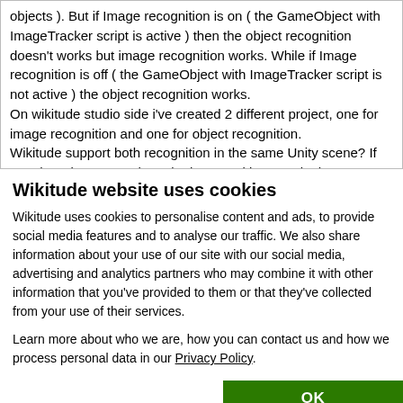objects ). But if Image recognition is on ( the GameObject with ImageTracker script is active ) then the object recognition doesn't works but image recognition works. While if Image recognition is off ( the GameObject with ImageTracker script is not active ) the object recognition works.
On wikitude studio side i've created 2 different project, one for image recognition and one for object recognition.
Wikitude support both recognition in the same Unity scene? If not, there is a way to have both recognition type in the same Unity scene or project?
Wikitude website uses cookies
Wikitude uses cookies to personalise content and ads, to provide social media features and to analyse our traffic. We also share information about your use of our site with our social media, advertising and analytics partners who may combine it with other information that you've provided to them or that they've collected from your use of their services.
Learn more about who we are, how you can contact us and how we process personal data in our Privacy Policy.
OK
Necessary  Preferences  Statistics  Marketing  Show details